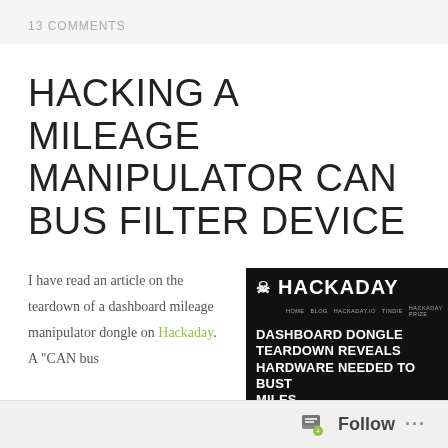13 COMMENTS
HACKING A MILEAGE MANIPULATOR CAN BUS FILTER DEVICE
I have read an article on the teardown of a dashboard mileage manipulator dongle on Hackaday. A "CAN bus
[Figure (screenshot): Screenshot of Hackaday website showing article titled 'DASHBOARD DONGLE TEARDOWN REVEALS HARDWARE NEEDED TO BUST MILES' with a photo of a circuit board]
Follow ...